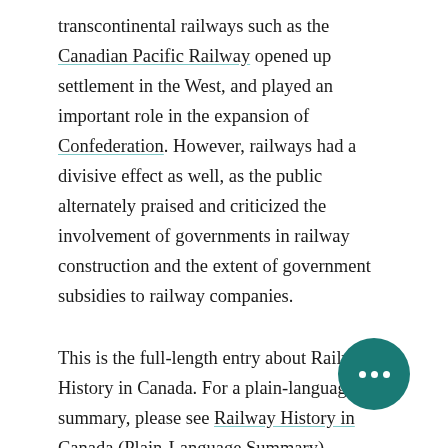transcontinental railways such as the Canadian Pacific Railway opened up settlement in the West, and played an important role in the expansion of Confederation. However, railways had a divisive effect as well, as the public alternately praised and criticized the involvement of governments in railway construction and the extent of government subsidies to railway companies.
This is the full-length entry about Railway History in Canada. For a plain-language summary, please see Railway History in Canada (Plain-Language Summary).